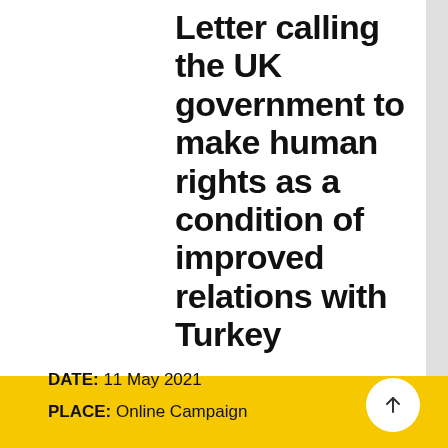Letter calling the UK government to make human rights as a condition of improved relations with Turkey
DATE: 11 May 2021
PLACE: Online Campaign